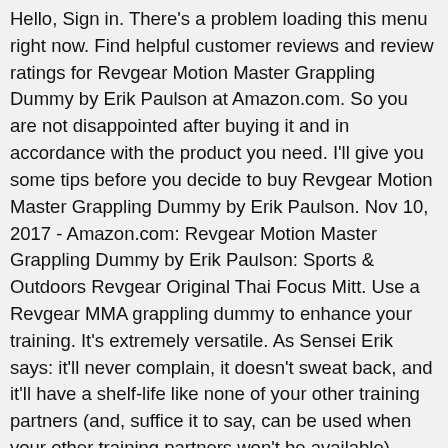Hello, Sign in. There's a problem loading this menu right now. Find helpful customer reviews and review ratings for Revgear Motion Master Grappling Dummy by Erik Paulson at Amazon.com. So you are not disappointed after buying it and in accordance with the product you need. I'll give you some tips before you decide to buy Revgear Motion Master Grappling Dummy by Erik Paulson. Nov 10, 2017 - Amazon.com: Revgear Motion Master Grappling Dummy by Erik Paulson: Sports & Outdoors Revgear Original Thai Focus Mitt. Use a Revgear MMA grappling dummy to enhance your training. It's extremely versatile. As Sensei Erik says: it'll never complain, it doesn't sweat back, and it'll have a shelf-life like none of your other training partners (and, suffice it to say, can be used when your other training partners won't be available). Change wall color, flooring-- and furniture!--by clicking below. There was an error retrieving your Wish Lists. Working on some transitions with the @revgear motion master. Free delivery and returns on all eligible orders. After viewing product detail pages, look here to find an easy way to navigate